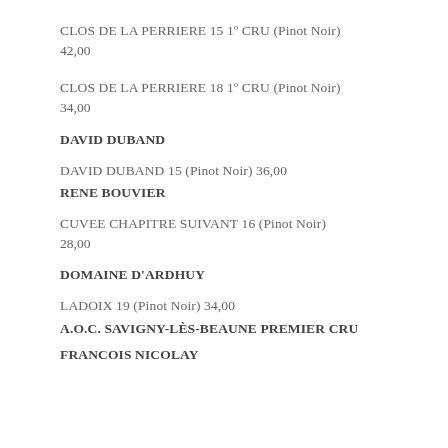CLOS DE LA PERRIERE 15 1º CRU (Pinot Noir) 42,00
CLOS DE LA PERRIERE 18 1º CRU (Pinot Noir) 34,00
DAVID DUBAND
DAVID DUBAND 15 (Pinot Noir) 36,00
RENE BOUVIER
CUVEE CHAPITRE SUIVANT 16 (Pinot Noir) 28,00
DOMAINE D'ARDHUY
LADOIX 19 (Pinot Noir) 34,00
A.O.C. SAVIGNY-LÈS-BEAUNE PREMIER CRU
FRANCOIS NICOLAY